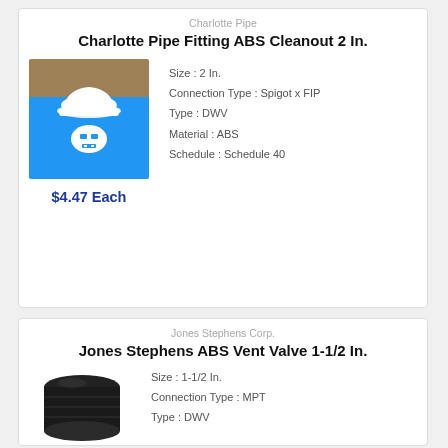Charlotte Pipe
Charlotte Pipe Fitting ABS Cleanout 2 In.
[Figure (illustration): Placeholder product image with hard hat icon on blue background]
Size : 2 In.
Connection Type : Spigot x FIP
Type : DWV
Material : ABS
Schedule : Schedule 40
$4.47 Each
Jones Stephens Corp.
Jones Stephens ABS Vent Valve 1-1/2 In.
[Figure (photo): Black ABS vent valve cap product photo]
Size : 1-1/2 In.
Connection Type : MPT
Type : DWV